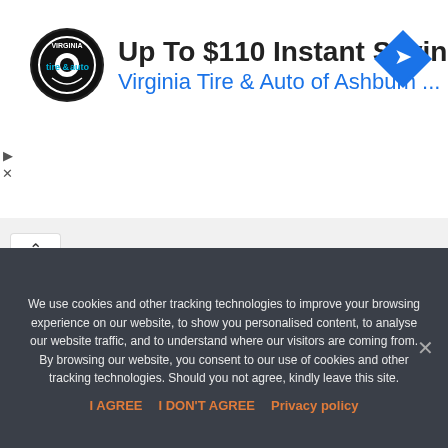[Figure (screenshot): Advertisement banner for Virginia Tire & Auto of Ashburn with logo circle, headline 'Up To $110 Instant Savings', blue subtext link, and blue diamond navigation icon]
Comment *
[Figure (screenshot): Empty white comment text area box with border]
We use cookies and other tracking technologies to improve your browsing experience on our website, to show you personalised content, to analyse our website traffic, and to understand where our visitors are coming from. By browsing our website, you consent to our use of cookies and other tracking technologies. Should you not agree, kindly leave this site.
I AGREE  I DON'T AGREE  Privacy policy